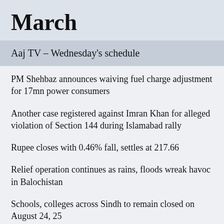March
Aaj TV – Wednesday's schedule
PM Shehbaz announces waiving fuel charge adjustment for 17mn power consumers
Another case registered against Imran Khan for alleged violation of Section 144 during Islamabad rally
Rupee closes with 0.46% fall, settles at 217.66
Relief operation continues as rains, floods wreak havoc in Balochistan
Schools, colleges across Sindh to remain closed on August 24, 25